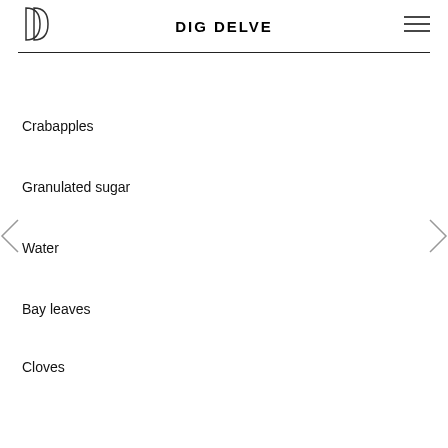DIG DELVE
Crabapples
Granulated sugar
Water
Bay leaves
Cloves